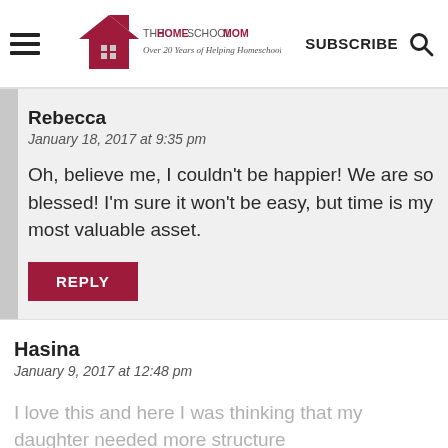[Figure (logo): TheHomeSchoolMom logo with house icon and tagline 'Over 20 Years of Helping Homeschoolers!']
SUBSCRIBE
Rebecca
January 18, 2017 at 9:35 pm
Oh, believe me, I couldn't be happier! We are so blessed! I'm sure it won't be easy, but time is my most valuable asset.
REPLY
Hasina
January 9, 2017 at 12:48 pm
I love this and here I was thinking that my daughter needed more structure